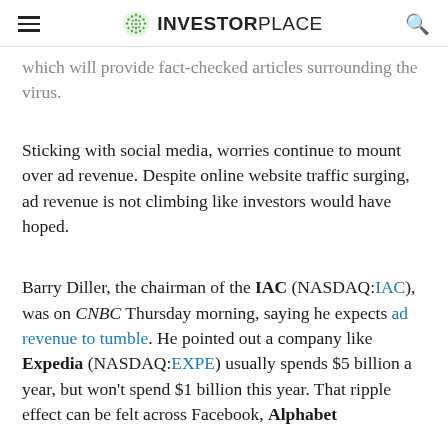INVESTORPLACE
which will provide fact-checked articles surrounding the virus.
Sticking with social media, worries continue to mount over ad revenue. Despite online website traffic surging, ad revenue is not climbing like investors would have hoped.
Barry Diller, the chairman of the IAC (NASDAQ:IAC), was on CNBC Thursday morning, saying he expects ad revenue to tumble. He pointed out a company like Expedia (NASDAQ:EXPE) usually spends $5 billion a year, but won't spend $1 billion this year. That ripple effect can be felt across Facebook, Alphabet